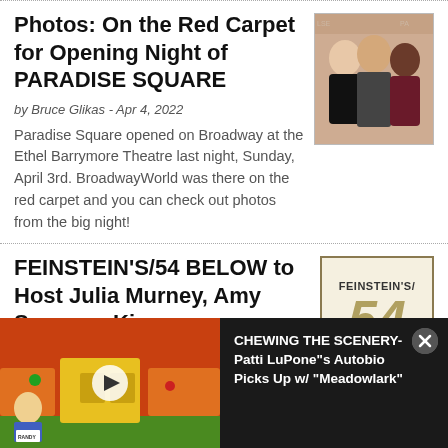Photos: On the Red Carpet for Opening Night of PARADISE SQUARE
[Figure (photo): Three people posing on red carpet: woman in black, man in suit, woman in dark dress]
by Bruce Glikas - Apr 4, 2022
Paradise Square opened on Broadway at the Ethel Barrymore Theatre last night, Sunday, April 3rd. BroadwayWorld was there on the red carpet and you can check out photos from the big night!
FEINSTEIN'S/54 BELOW to Host Julia Murney, Amy Spanger, Kira
[Figure (logo): Feinstein's/54 Below logo with large gold number 54]
[Figure (screenshot): Video overlay: animated cartoon scene on left, dark panel with text 'CHEWING THE SCENERY- Patti LuPone"s Autobio Picks Up w/ "Meadowlark"' on right with close button]